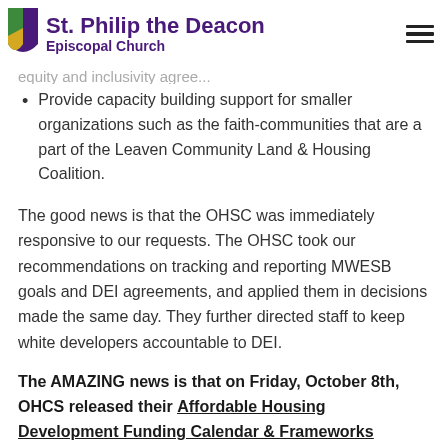St. Philip the Deacon Episcopal Church
Provide capacity building support for smaller organizations such as the faith-communities that are a part of the Leaven Community Land & Housing Coalition.
The good news is that the OHSC was immediately responsive to our requests. The OHSC took our recommendations on tracking and reporting MWESB goals and DEI agreements, and applied them in decisions made the same day. They further directed staff to keep white developers accountable to DEI.
The AMAZING news is that on Friday, October 8th, OHCS released their Affordable Housing Development Funding Calendar & Frameworks through 2023. The framework adopts all of our